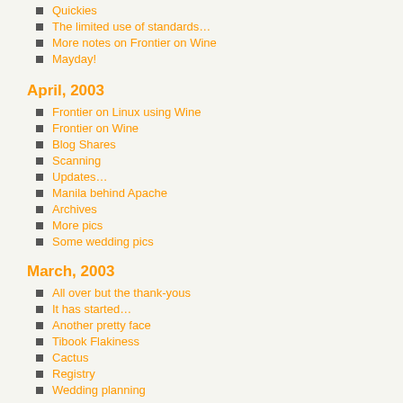Quickies
The limited use of standards…
More notes on Frontier on Wine
Mayday!
April, 2003
Frontier on Linux using Wine
Frontier on Wine
Blog Shares
Scanning
Updates…
Manila behind Apache
Archives
More pics
Some wedding pics
March, 2003
All over but the thank-yous
It has started…
Another pretty face
Tibook Flakiness
Cactus
Registry
Wedding planning
February, 2003
Set this House in Order